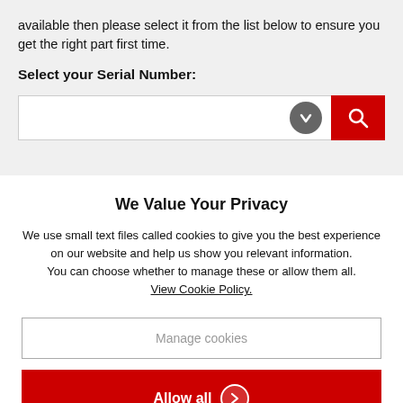available then please select it from the list below to ensure you get the right part first time.
Select your Serial Number:
[Figure (screenshot): A search input box with a dropdown arrow button and a red search button with magnifying glass icon]
We Value Your Privacy
We use small text files called cookies to give you the best experience on our website and help us show you relevant information.
You can choose whether to manage these or allow them all.
View Cookie Policy.
Manage cookies
Allow all